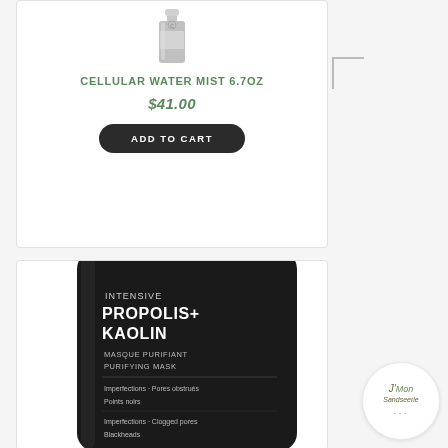[Figure (photo): Cellular Water Mist product bottle, silver/grey, partially visible at top of card]
CELLULAR WATER MIST 6.7OZ
$41.00
ADD TO CART
[Figure (photo): Black tube product: Intensive Propolis+ Kaolin Masque Purifiant Purifying Mask. Text on tube: Imperfections - Pores obstrués, Points noirs, Imperfections - Clogged pores, Blackheads]